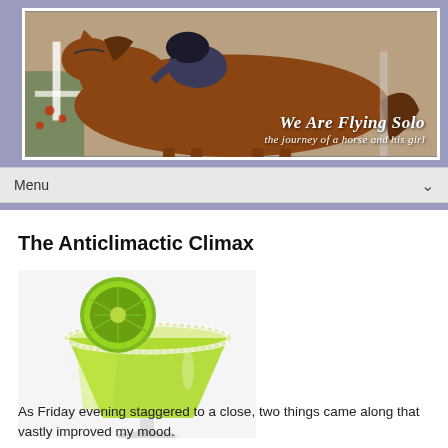[Figure (photo): Website banner showing a chestnut horse with rider jumping, with overlay text 'We Are Flying Solo - the journey of a horse and his girl']
We Are Flying Solo
the journey of a horse and his girl
Menu
The Anticlimactic Climax
[Figure (photo): A green margarita in a salted glass rimmed cocktail glass with a lime wheel garnish, on a white background]
As Friday evening staggered to a close, two things came along that vastly improved my mood.